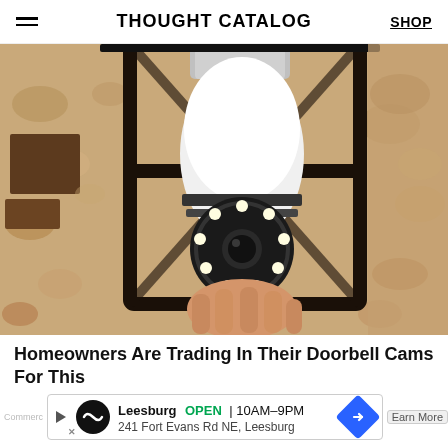THOUGHT CATALOG | SHOP
[Figure (photo): A hand installing a white security camera shaped like a light bulb into a black outdoor lantern fixture mounted on a textured stone/stucco wall. The camera has a circular lens array at the bottom with LED lights arranged in a ring.]
Homeowners Are Trading In Their Doorbell Cams For This
Leesburg OPEN 10AM–9PM 241 Fort Evans Rd NE, Leesburg